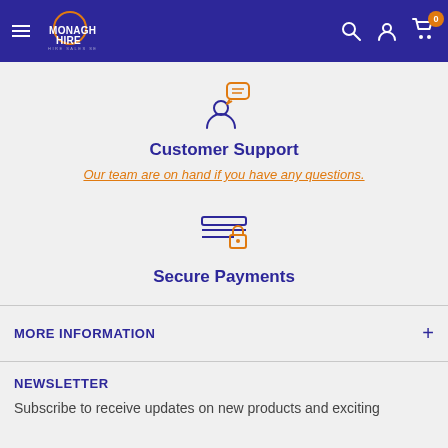MONAGHAN HIRE | HIRE SALES SERVICE
[Figure (illustration): Customer support icon: person silhouette with speech bubble, orange and dark navy outline style]
Customer Support
Our team are on hand if you have any questions.
[Figure (illustration): Secure payments icon: credit card with padlock, orange and dark navy outline style]
Secure Payments
MORE INFORMATION
NEWSLETTER
Subscribe to receive updates on new products and exciting